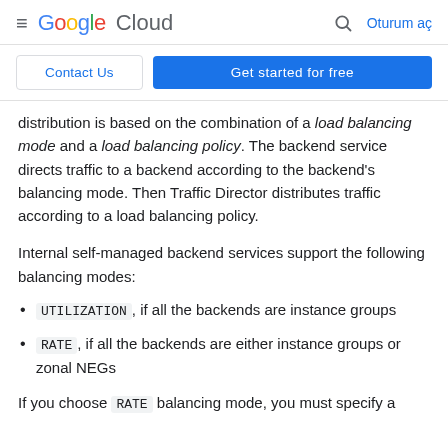Google Cloud  🔍  Oturum aç
Contact Us | Get started for free
distribution is based on the combination of a load balancing mode and a load balancing policy. The backend service directs traffic to a backend according to the backend's balancing mode. Then Traffic Director distributes traffic according to a load balancing policy.
Internal self-managed backend services support the following balancing modes:
UTILIZATION, if all the backends are instance groups
RATE, if all the backends are either instance groups or zonal NEGs
If you choose RATE balancing mode, you must specify a